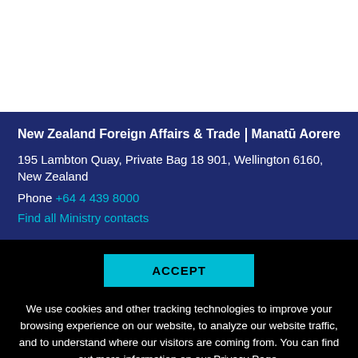New Zealand Foreign Affairs & Trade | Manatū Aorere
195 Lambton Quay, Private Bag 18 901, Wellington 6160, New Zealand
Phone +64 4 439 8000
Find all Ministry contacts
ACCEPT
We use cookies and other tracking technologies to improve your browsing experience on our website, to analyze our website traffic, and to understand where our visitors are coming from. You can find out more information on our Privacy Page.